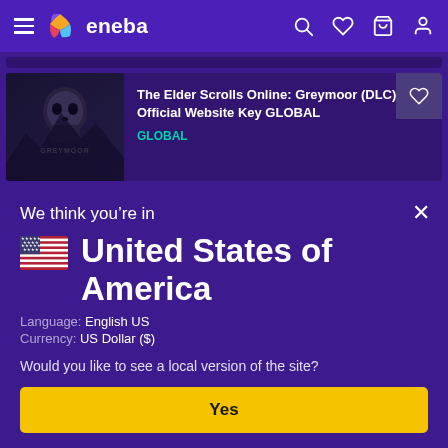eneba — navigation bar with hamburger menu, logo, search, wishlist, cart, and account icons
[Figure (screenshot): Partial product listing strip at top]
The Elder Scrolls Online: Greymoor (DLC) Official Website Key GLOBAL
GLOBAL
We think you're in
United States of America
Language: English US
Currency: US Dollar ($)
Would you like to see a local version of the site?
Yes